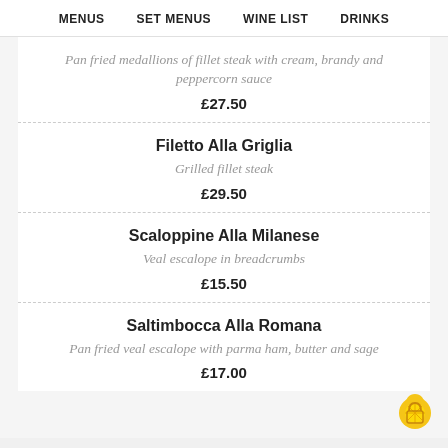MENUS  SET MENUS  WINE LIST  DRINKS
Pan fried medallions of fillet steak with cream, brandy and peppercorn sauce
£27.50
Filetto Alla Griglia
Grilled fillet steak
£29.50
Scaloppine Alla Milanese
Veal escalope in breadcrumbs
£15.50
Saltimbocca Alla Romana
Pan fried veal escalope with parma ham, butter and sage
£17.00